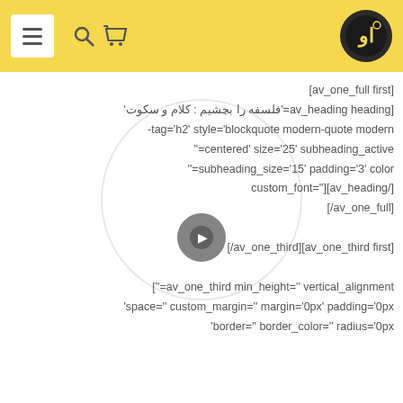Navigation header with hamburger menu, search, cart icons and logo
[av_one_full first]
[av_heading heading='فلسفه را بچشیم : کلام و سکوت' tag='h2' style='blockquote modern-quote modern-centered' size='25' subheading_active='' subheading_size='15' padding='3' color='' custom_font=''][av_heading/]
[av_one_full/]

[av_one_third first][av_one_third/]

av_one_third min_height='' vertical_alignment='']
space='' custom_margin='' margin='0px' padding='0px'
border='' border_color='' radius='0px